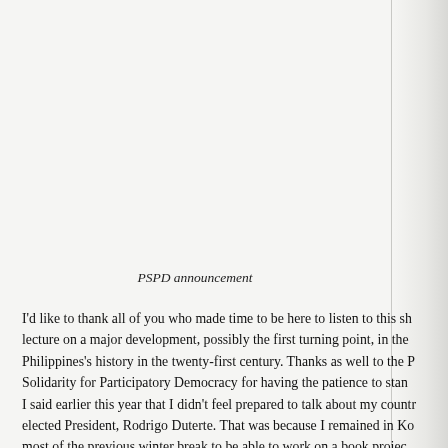PSPD announcement
I'd like to thank all of you who made time to be here to listen to this sh lecture on a major development, possibly the first turning point, in the Philippines's history in the twenty-first century. Thanks as well to the P Solidarity for Participatory Democracy for having the patience to stan I said earlier this year that I didn't feel prepared to talk about my countr elected President, Rodrigo Duterte. That was because I remained in Ko most of the previous winter break to be able to work on a book projec returned to the Philippines during summer to get a feel of ground-leve sentiment. I still don't feel fully confident about what I can say about t presidential regime, but I might be able to have a better sense now, ab